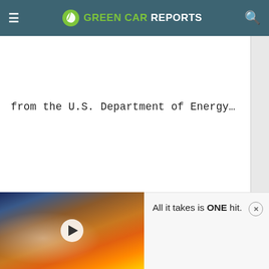GREEN CAR REPORTS
from the U.S. Department of Energy…
[Figure (screenshot): Video thumbnail showing animated warrior character with play button overlay]
All it takes is ONE hit.